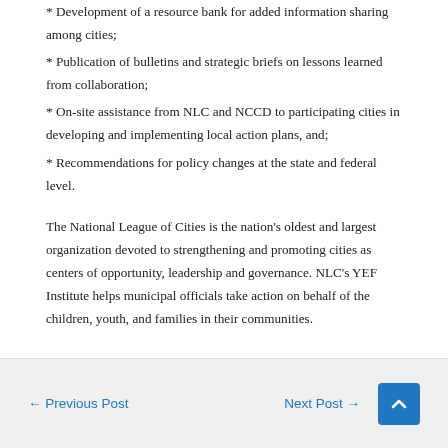* Development of a resource bank for added information sharing among cities;
* Publication of bulletins and strategic briefs on lessons learned from collaboration;
* On-site assistance from NLC and NCCD to participating cities in developing and implementing local action plans, and;
* Recommendations for policy changes at the state and federal level.
The National League of Cities is the nation's oldest and largest organization devoted to strengthening and promoting cities as centers of opportunity, leadership and governance. NLC's YEF Institute helps municipal officials take action on behalf of the children, youth, and families in their communities.
← Previous Post   Next Post →